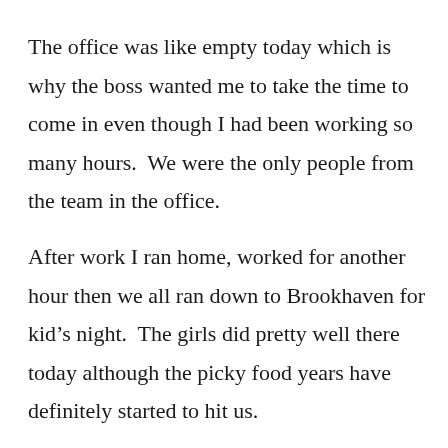The office was like empty today which is why the boss wanted me to take the time to come in even though I had been working so many hours.  We were the only people from the team in the office.
After work I ran home, worked for another hour then we all ran down to Brookhaven for kid’s night.  The girls did pretty well there today although the picky food years have definitely started to hit us.